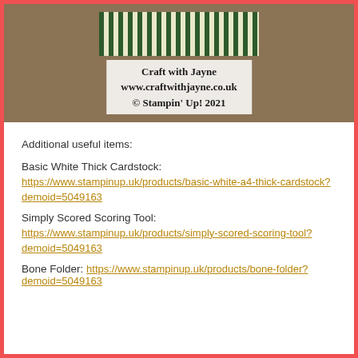[Figure (photo): Photo of striped green and white card/paper over a wooden background, with a white overlay box showing 'Craft with Jayne www.craftwithjayne.co.uk © Stampin' Up! 2021']
Additional useful items:
Basic White Thick Cardstock:
https://www.stampinup.uk/products/basic-white-a4-thick-cardstock?demoid=5049163
Simply Scored Scoring Tool:
https://www.stampinup.uk/products/simply-scored-scoring-tool?demoid=5049163
Bone Folder: https://www.stampinup.uk/products/bone-folder?demoid=5049163